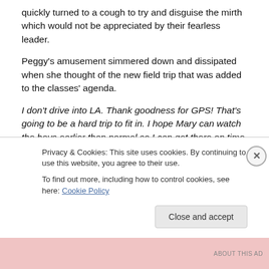quickly turned to a cough to try and disguise the mirth which would not be appreciated by their fearless leader.
Peggy's amusement simmered down and dissipated when she thought of the new field trip that was added to the classes' agenda.
I don't drive into LA. Thank goodness for GPS! That's going to be a hard trip to fit in. I hope Mary can watch the boys earlier than normal so I can get there on time. That sounds like fun. I've never been to that museum. How am I going to get the extra gas money?
Privacy & Cookies: This site uses cookies. By continuing to use this website, you agree to their use.
To find out more, including how to control cookies, see here: Cookie Policy
Close and accept